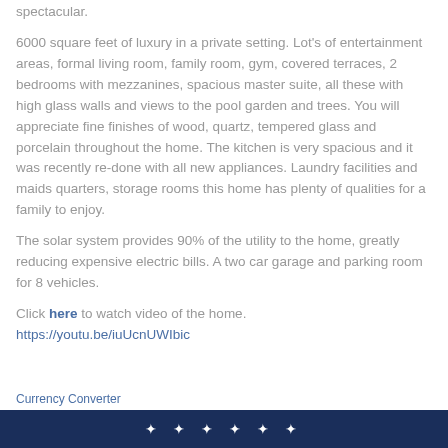spectacular.
6000 square feet of luxury in a private setting. Lot's of entertainment areas, formal living room, family room, gym, covered terraces, 2 bedrooms with mezzanines, spacious master suite, all these with high glass walls and views to the pool garden and trees. You will appreciate fine finishes of wood, quartz, tempered glass and porcelain throughout the home. The kitchen is very spacious and it was recently re-done with all new appliances. Laundry facilities and maids quarters, storage rooms this home has plenty of qualities for a family to enjoy.
The solar system provides 90% of the utility to the home, greatly reducing expensive electric bills. A two car garage and parking room for 8 vehicles.
Click here to watch video of the home.
https://youtu.be/iuUcnUWIbic
Currency Converter